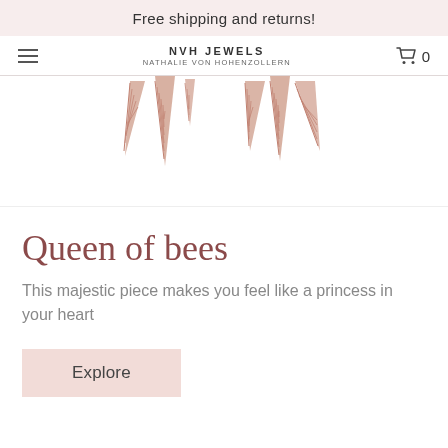Free shipping and returns!
NVH JEWELS NATHALIE VON HOHENZOLLERN
[Figure (photo): Partial view of a diamond-studded rose gold spike/fringe necklace photographed against a white background, showing multiple tapered spike pendants with pavé diamonds.]
Queen of bees
This majestic piece makes you feel like a princess in your heart